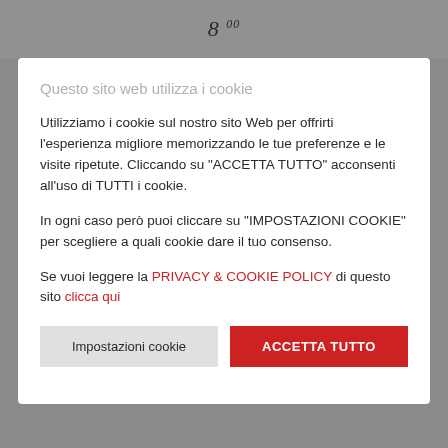8 00
Questo sito web utilizza i cookie
Utilizziamo i cookie sul nostro sito Web per offrirti l'esperienza migliore memorizzando le tue preferenze e le visite ripetute. Cliccando su "ACCETTA TUTTO" acconsenti all'uso di TUTTI i cookie.
In ogni caso però puoi cliccare su "IMPOSTAZIONI COOKIE" per scegliere a quali cookie dare il tuo consenso.
Se vuoi leggere la PRIVACY & COOKIE POLICY di questo sito clicca qui
Impostazioni cookie | ACCETTA TUTTO